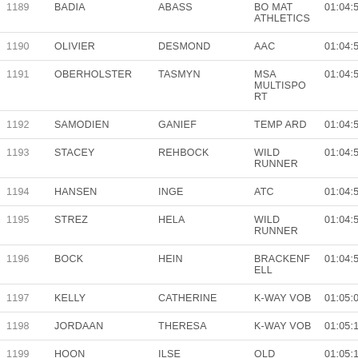| # | Surname | First Name | Club | Time |
| --- | --- | --- | --- | --- |
| 1189 | BADIA | ABASS | BO MAT ATHLETICS | 01:04:54 |
| 1190 | OLIVIER | DESMOND | AAC | 01:04:55 |
| 1191 | OBERHOLSTER | TASMYN | MSA MULTISPORT | 01:04:55 |
| 1192 | SAMODIEN | GANIEF | TEMP ARD | 01:04:56 |
| 1193 | STACEY | REHBOCK | WILD RUNNER | 01:04:57 |
| 1194 | HANSEN | INGE | ATC | 01:04:57 |
| 1195 | STREZ | HELA | WILD RUNNER | 01:04:57 |
| 1196 | BOCK | HEIN | BRACKENFELL | 01:04:59 |
| 1197 | KELLY | CATHERINE | K-WAY VOB | 01:05:04 |
| 1198 | JORDAAN | THERESA | K-WAY VOB | 01:05:10 |
| 1199 | HOON | ILSE | OLD MUTUAL | 01:05:11 |